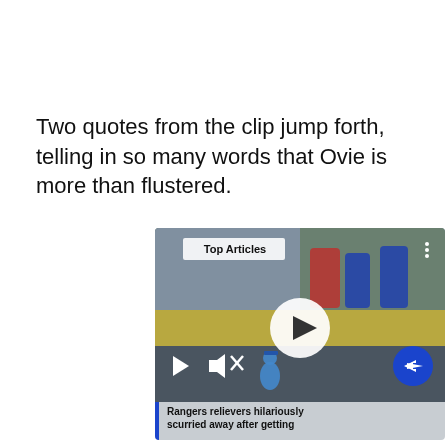Two quotes from the clip jump forth, telling in so many words that Ovie is more than flustered.
[Figure (screenshot): Embedded video player showing baseball players in an outfield. Overlay shows 'Top Articles' badge, play button circle, small play arrow, mute icon, and blue arrow circle button. Bottom caption reads: Rangers relievers hilariously scurried away after getting caught blocking the batter's eye]